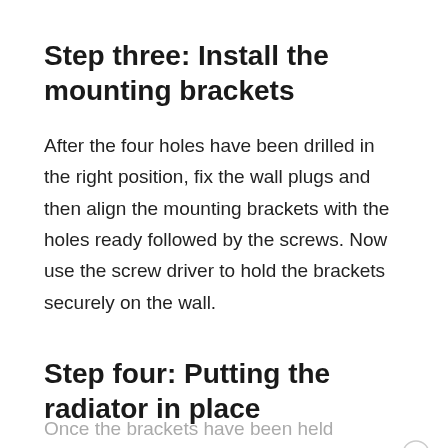Step three: Install the mounting brackets
After the four holes have been drilled in the right position, fix the wall plugs and then align the mounting brackets with the holes ready followed by the screws. Now use the screw driver to hold the brackets securely on the wall.
Step four: Putting the radiator in place
Once the brackets have been held securely on the